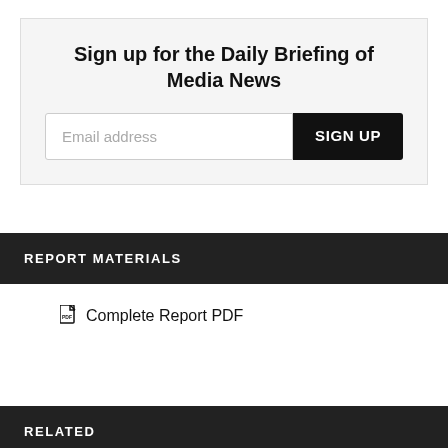Sign up for the Daily Briefing of Media News
Email address
SIGN UP
REPORT MATERIALS
Complete Report PDF
RELATED
FEATURE | NOV 18, 2021